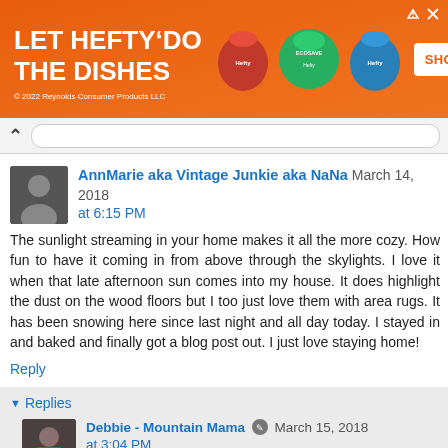[Figure (screenshot): Orange advertisement banner for Hefty dish products reading 'LET HEFTY DO THE DISHES' with product images and 'SHOP NOW' button. Copyright 2022 Reynolds Consumer Products LLC.]
[Figure (screenshot): Browser address bar area with back arrow navigation control]
AnnMarie aka Vintage Junkie aka NaNa March 14, 2018 at 6:15 PM
The sunlight streaming in your home makes it all the more cozy. How fun to have it coming in from above through the skylights. I love it when that late afternoon sun comes into my house. It does highlight the dust on the wood floors but I too just love them with area rugs. It has been snowing here since last night and all day today. I stayed in and baked and finally got a blog post out. I just love staying home!
Reply
Replies
Debbie - Mountain Mama March 15, 2018 at 3:04 PM